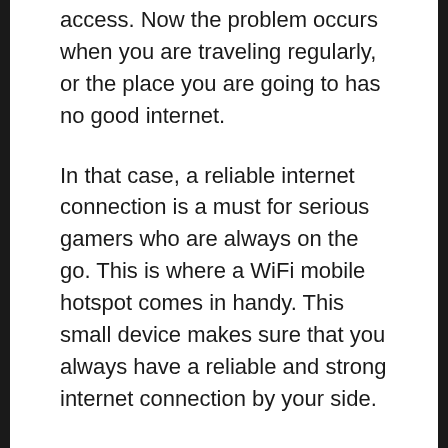access. Now the problem occurs when you are traveling regularly, or the place you are going to has no good internet.
In that case, a reliable internet connection is a must for serious gamers who are always on the go. This is where a WiFi mobile hotspot comes in handy. This small device makes sure that you always have a reliable and strong internet connection by your side.